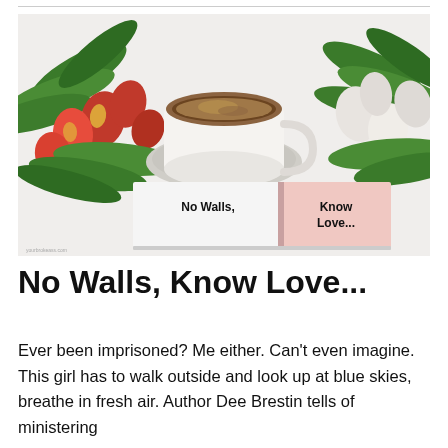[Figure (photo): Overhead flatlay photo showing red and white tulips on either side, a white cup of coffee on a saucer in the center top, and an open book/notebook in the lower center with bold text reading 'No Walls, Know Love...' split across two pages (white and pink). Small watermark text visible at bottom left of image.]
No Walls, Know Love...
Ever been imprisoned? Me either. Can't even imagine. This girl has to walk outside and look up at blue skies, breathe in fresh air. Author Dee Brestin tells of ministering